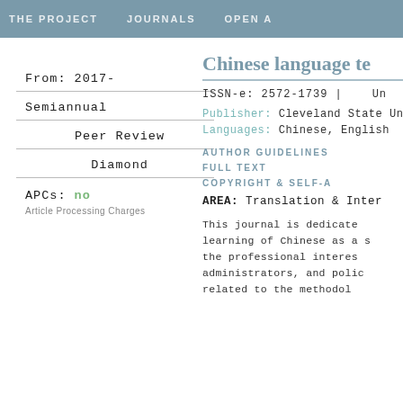THE PROJECT   JOURNALS   OPEN A
Chinese language te
ISSN-e: 2572-1739 |   Un
Publisher: Cleveland State Un
Languages: Chinese, English
From: 2017-
Semiannual
Peer Review
Diamond
APCs: NO
Article Processing Charges
AUTHOR GUIDELINES
FULL TEXT
COPYRIGHT & SELF-A
AREA: Translation & Inter
This journal is dedicate learning of Chinese as a s the professional interes administrators, and polic related to the methodol